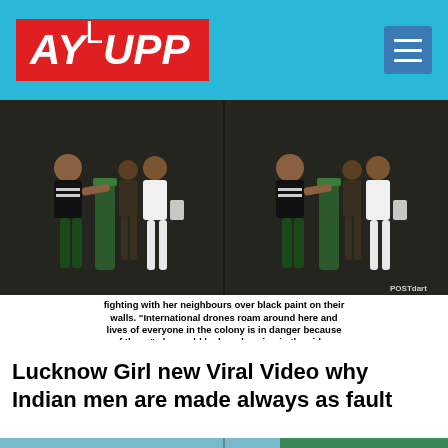AYUPP
[Figure (photo): Two side-by-side video stills showing a woman in a black top and green pants fighting with neighbours, with a POSTdart watermark in the lower right]
fighting with her neighbours over black paint on their walls. "International drones roam around here and lives of everyone in the colony is in danger because of them," she could be heard saying in the video.
Lucknow Girl new Viral Video why Indian men are made always as fault
[Figure (photo): Partial bottom image showing a blue and green building exterior]